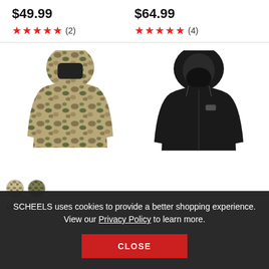$49.99
★★★★★ (2)
$64.99
★★★★★ (4)
[Figure (photo): Man's Sitka camo hunting hoodie/balaclava jacket in camouflage pattern]
[Figure (photo): Men's Sitka black full zip hoodie sweatshirt]
Men's Sitka Equinox Guard
Men's Sitka Jeon Full Zip
SCHEELS uses cookies to provide a better shopping experience. View our Privacy Policy to learn more.
CLOSE